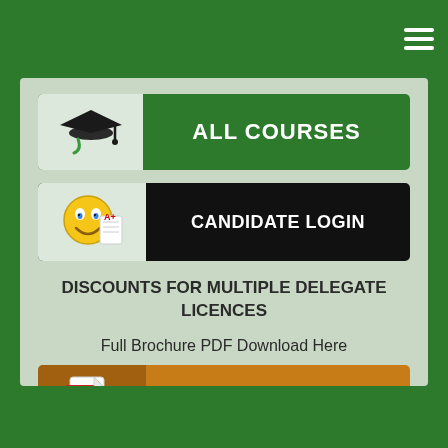[Figure (screenshot): Green navigation bar at top with hamburger menu icon (three white horizontal lines) on the right side]
[Figure (screenshot): Green button with graduation cap icon on left and 'ALL COURSES' text in white on right]
[Figure (screenshot): Dark/black button with smiley face emoji icon holding paper on left and 'CANDIDATE LOGIN' text in white on right]
DISCOUNTS FOR MULTIPLE DELEGATE LICENCES
Full Brochure PDF Download Here
[Figure (screenshot): Orange button with PDF document icon (red downward arrow) on left and 'FULL BROCHURE PDF' text in white on right]